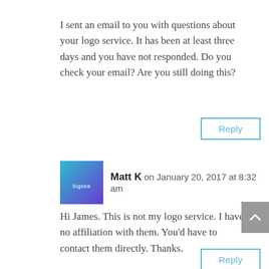I sent an email to you with questions about your logo service. It has been at least three days and you have not responded. Do you check your email? Are you still doing this?
Reply
Matt K on January 20, 2017 at 8:32 am
Hi James. This is not my logo service. I have no affiliation with them. You'd have to contact them directly. Thanks.
Reply